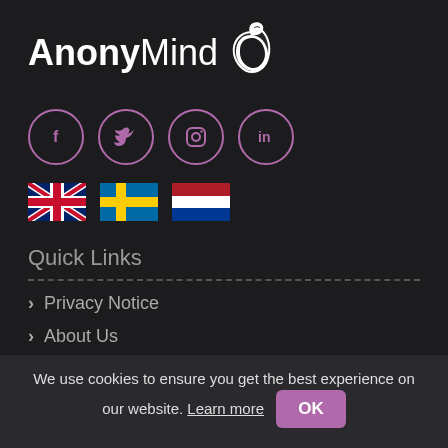[Figure (logo): AnonyMind logo with stylized head/leaf icon in white on dark background]
[Figure (illustration): Four social media icons in purple-bordered circles: Facebook (f), Twitter (bird), Instagram (camera), LinkedIn (in)]
[Figure (illustration): Three country flags: United Kingdom (Union Jack), Sweden (blue with yellow cross), Netherlands (red, white, blue horizontal stripes)]
Quick Links
Privacy Notice
About Us
We use cookies to ensure you get the best experience on our website. Learn more  OK